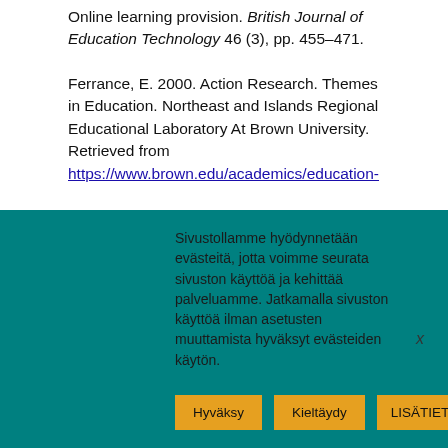Online learning provision. British Journal of Education Technology 46 (3), pp. 455–471.
Ferrance, E. 2000. Action Research. Themes in Education. Northeast and Islands Regional Educational Laboratory At Brown University. Retrieved from https://www.brown.edu/academics/education-
Sivustollamme hyödynnetään evästeitä, jotta voimme seurata sivuston käyttöä ja kehittää palveluamme. Jatkamalla sivuston käyttöä ilman asetusten muuttamista hyväksyt evästeiden käytön.
Hyväksy
Kieltäydy
LISÄTIETOJA